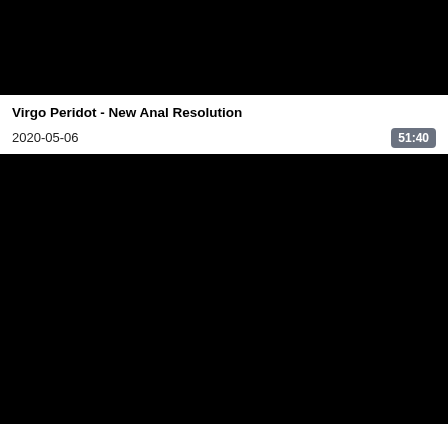[Figure (screenshot): Black rectangular video thumbnail placeholder at the top]
Virgo Peridot - New Anal Resolution
2020-05-06
51:40
[Figure (screenshot): Black rectangular video thumbnail placeholder at the bottom]